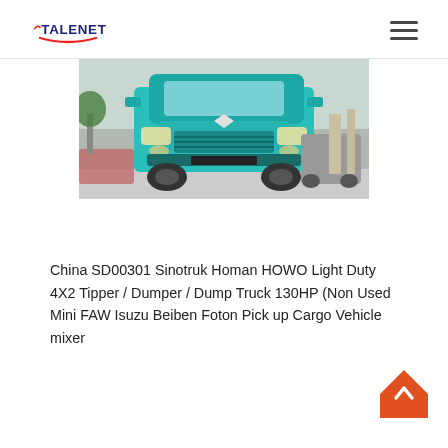TALENET
[Figure (photo): Front view of a teal/turquoise Sinotruk Homan HOWO heavy dump truck parked outdoors, showing the front grille, headlights, and cab. Additional trucks visible in background.]
China SD00301 Sinotruk Homan HOWO Light Duty 4X2 Tipper / Dumper / Dump Truck 130HP (Non Used Mini FAW Isuzu Beiben Foton Pick up Cargo Vehicle mixer